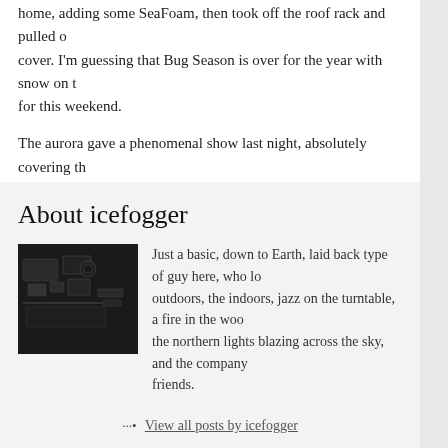home, adding some SeaFoam, then took off the roof rack and pulled over the cover. I'm guessing that Bug Season is over for the year with snow on the ground for this weekend.
The aurora gave a phenomenal show last night, absolutely covering the sky above Fairbanks. We're down to a Level 3 tonight on the Aurora Forecast.
Share this:
Facebook  Pinterest  Email
Like this:
Loading...
About icefogger
[Figure (photo): Black and white photo of what appears to be a cockpit or control panel interior.]
Just a basic, down to Earth, laid back type of guy here, who loves the outdoors, the indoors, jazz on the turntable, a fire in the woodstove, the northern lights blazing across the sky, and the company of good friends.
View all posts by icefogger